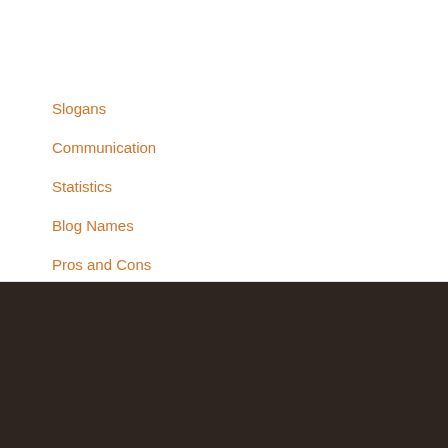Slogans
Communication
Statistics
Blog Names
Pros and Cons
SUCCESS IS A CHOICE
50 Best Business Letter Closings of All-Time
100 Most Loved Team Building Activities that Are Awesome